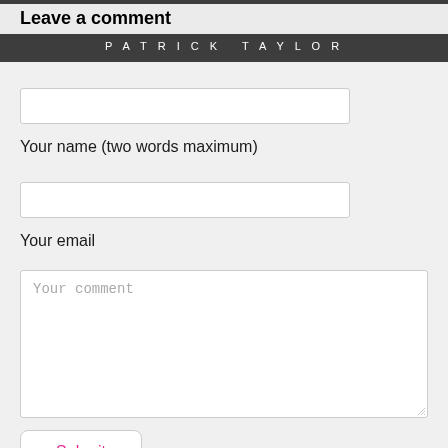Leave a comment
PATRICK TAYLOR
Your name (two words maximum)
Your email
Your comment
Submit